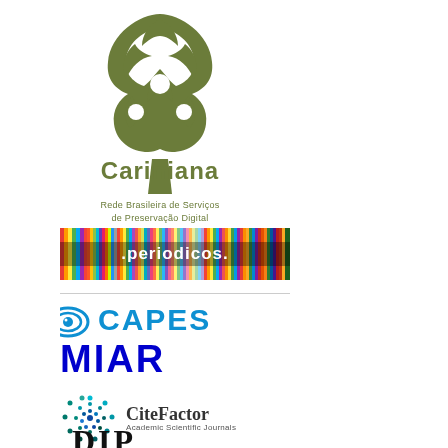[Figure (logo): Cariniana logo - stylized green tree/knot symbol with text 'Cariniana' and subtitle 'Rede Brasileira de Serviços de Preservação Digital']
[Figure (logo): Periódicos CAPES logo - colorful striped banner with white text '.periodicos.' on red/multicolor background]
[Figure (logo): CAPES logo - blue eye/target symbol with blue text 'CAPES']
[Figure (logo): MIAR logo - bold blue text 'MIAR']
[Figure (logo): CiteFactor logo - circular dot pattern icon with text 'CiteFactor Academic Scientific Journals']
[Figure (logo): Partially visible logo at bottom - black bold letters, partially cut off]